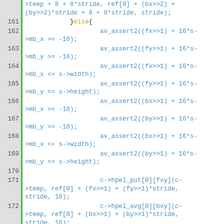[Figure (screenshot): Source code listing lines 160-179 of a C file showing motion estimation/half-pixel interpolation logic with line numbers, green gutter, and syntax highlighting in blue and orange.]